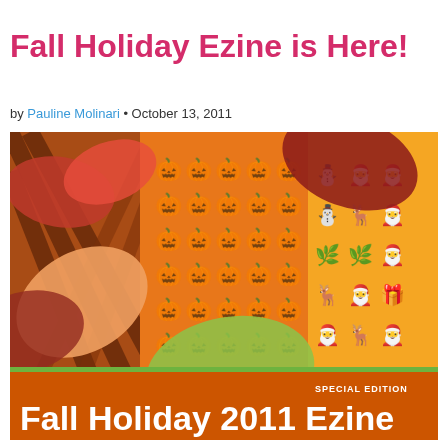Fall Holiday Ezine is Here!
by Pauline Molinari • October 13, 2011
[Figure (illustration): Cover image of Fall Holiday 2011 Ezine showing autumn leaves (red, orange, green maple leaves) on the left with a plaid pattern, orange pumpkin pattern in the center, and Christmas holiday characters (snowman, Santa, reindeer, gingerbread man) on a golden-orange background on the right. Bottom banner reads 'Fall Holiday 2011 Ezine' with 'SPECIAL EDITION' text above it.]